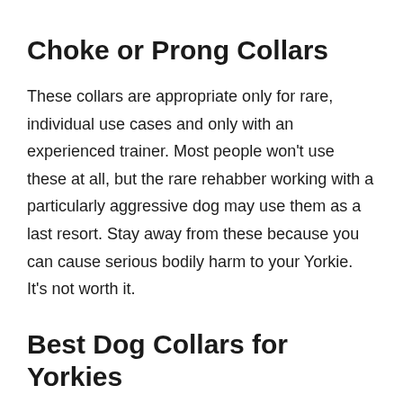Choke or Prong Collars
These collars are appropriate only for rare, individual use cases and only with an experienced trainer. Most people won't use these at all, but the rare rehabber working with a particularly aggressive dog may use them as a last resort. Stay away from these because you can cause serious bodily harm to your Yorkie. It's not worth it.
Best Dog Collars for Yorkies